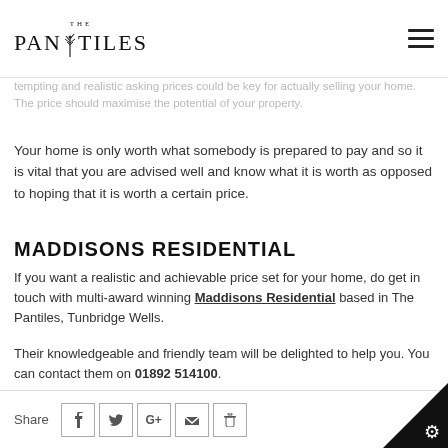THE PANTILES
tempting and realistic asking prices could be key for actually selling your home. The price should maximise the potential of your property.
Your home is only worth what somebody is prepared to pay and so it is vital that you are advised well and know what it is worth as opposed to hoping that it is worth a certain price.
MADDISONS RESIDENTIAL
If you want a realistic and achievable price set for your home, do get in touch with multi-award winning Maddisons Residential based in The Pantiles, Tunbridge Wells.
Their knowledgeable and friendly team will be delighted to help you. You can contact them on 01892 514100.
Source: Maddisons Residential
Share